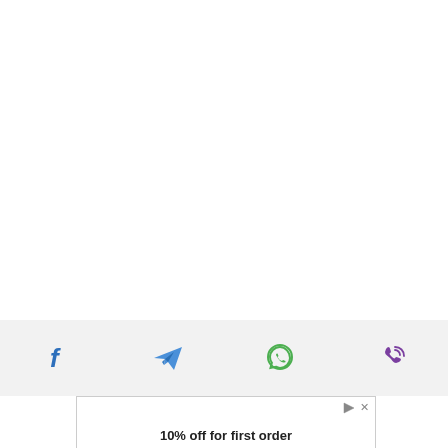[Figure (other): Social sharing bar with four icons: Facebook (blue f), Telegram (blue paper plane), WhatsApp (green speech bubble with phone), Viber (purple phone with signal waves)]
[Figure (other): Advertisement banner showing play and close controls, text '10% off for first order']